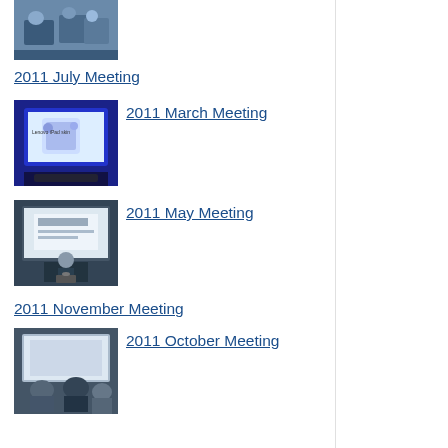[Figure (photo): Thumbnail photo of people at a meeting, blue tones]
2011 July Meeting
[Figure (photo): Thumbnail photo of a projected screen showing iPad skin presentation]
2011 March Meeting
[Figure (photo): Thumbnail photo of a projected screen with a presenter below]
2011 May Meeting
2011 November Meeting
[Figure (photo): Thumbnail photo of people at a meeting with a projected screen]
2011 October Meeting